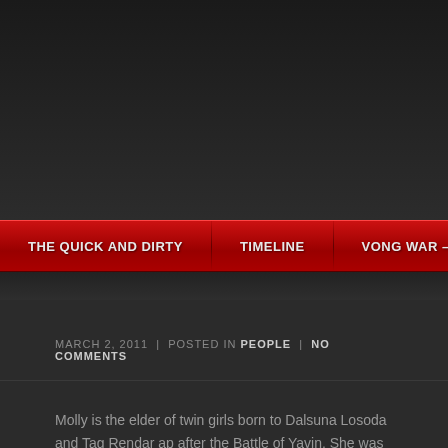THE QUICK AND DIRTY | TIMELINE | VONG WAR – DRAMATIS
MARCH 2, 2011 | POSTED IN PEOPLE | NO COMMENTS
Molly is the elder of twin girls born to Dalsuna Losoda and Tag Rendar ap after the Battle of Yavin. She was recruited at sixteen into New Republic I Sector 27, a region her mother once commanded for Intelligence.